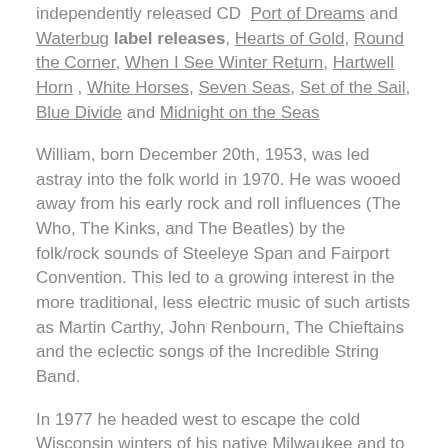independently released CD Port of Dreams and Waterbug label releases, Hearts of Gold, Round the Corner, When I See Winter Return, Hartwell Horn, White Horses, Seven Seas, Set of the Sail, Blue Divide and Midnight on the Seas
William, born December 20th, 1953, was led astray into the folk world in 1970. He was wooed away from his early rock and roll influences (The Who, The Kinks, and The Beatles) by the folk/rock sounds of Steeleye Span and Fairport Convention. This led to a growing interest in the more traditional, less electric music of such artists as Martin Carthy, John Renbourn, The Chieftains and the eclectic songs of the Incredible String Band.
In 1977 he headed west to escape the cold Wisconsin winters of his native Milwaukee and to pursue music. The salt air of Puget Sound and the rich, seafaring history of the Pacific Northwest soon led him to explore